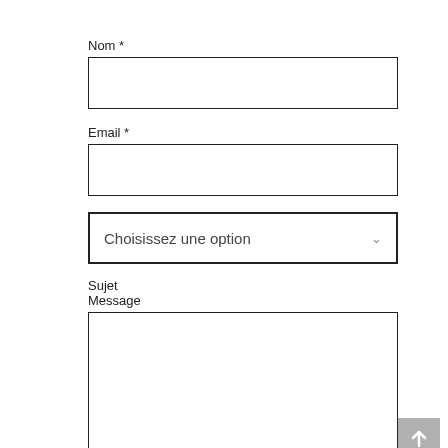Nom *
[Figure (other): Empty text input box for Nom field]
Email *
[Figure (other): Empty text input box for Email field]
[Figure (other): Dropdown selector showing 'Choisissez une option' with chevron arrow]
Sujet
Message
[Figure (other): Empty textarea for message input with a grey scroll-to-top button in bottom right corner]